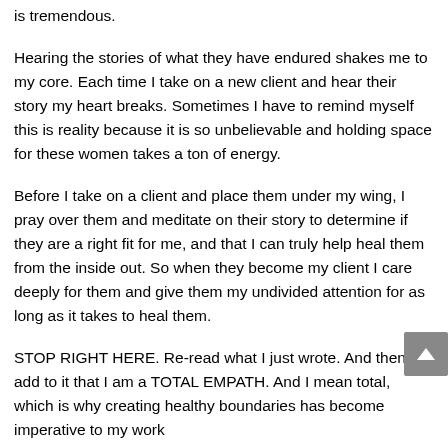is tremendous.
Hearing the stories of what they have endured shakes me to my core. Each time I take on a new client and hear their story my heart breaks. Sometimes I have to remind myself this is reality because it is so unbelievable and holding space for these women takes a ton of energy.
Before I take on a client and place them under my wing, I pray over them and meditate on their story to determine if they are a right fit for me, and that I can truly help heal them from the inside out. So when they become my client I care deeply for them and give them my undivided attention for as long as it takes to heal them.
STOP RIGHT HERE. Re-read what I just wrote. And then add to it that I am a TOTAL EMPATH. And I mean total, which is why creating healthy boundaries has become imperative to my work